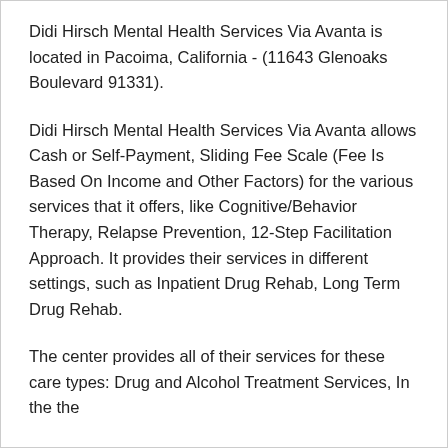Didi Hirsch Mental Health Services Via Avanta is located in Pacoima, California - (11643 Glenoaks Boulevard 91331).
Didi Hirsch Mental Health Services Via Avanta allows Cash or Self-Payment, Sliding Fee Scale (Fee Is Based On Income and Other Factors) for the various services that it offers, like Cognitive/Behavior Therapy, Relapse Prevention, 12-Step Facilitation Approach. It provides their services in different settings, such as Inpatient Drug Rehab, Long Term Drug Rehab.
The center provides all of their services for these care types: Drug and Alcohol Treatment Services, In the the...